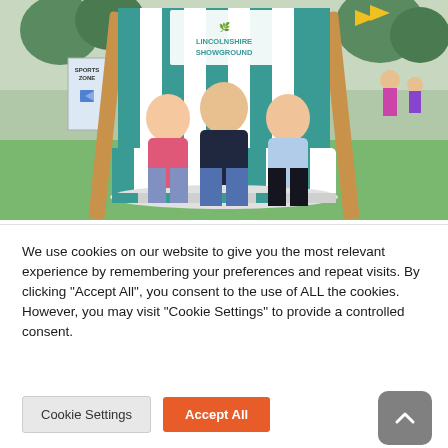[Figure (photo): Three children (two girls and a boy) sitting in a large oversized striped teal and white deckchair at the Lincolnshire Showground. The chair has a wooden frame and a Lincolnshire Showground logo visible on the back canvas. There is a 'Sports Zone' sign visible on the left. Green grass and trees in the background.]
We use cookies on our website to give you the most relevant experience by remembering your preferences and repeat visits. By clicking "Accept All", you consent to the use of ALL the cookies. However, you may visit "Cookie Settings" to provide a controlled consent.